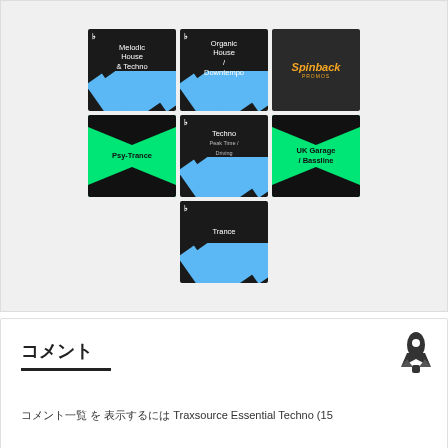[Figure (screenshot): Grid of 7 music genre category thumbnails: Melodic House & Techno (dark with blue stripes), Organic House / Downtempo (dark with blue stripes), Spinback Records logo (dark), Psy-Trance (green with black chevrons), Techno Peak Time/Driving (dark with blue stripes), UK Garage / Bassline (green with black chevrons), Trance (dark with blue stripes)]
コメント
コメント一覧 を 表示するには Traxsource Essential Techno (15